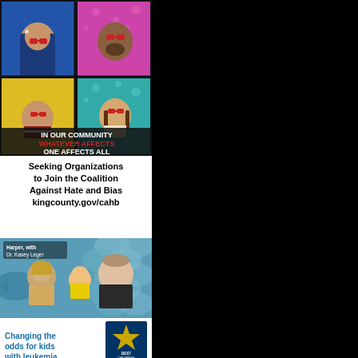[Figure (photo): Advertisement for King County Coalition Against Hate and Bias. Top portion shows a 2x2 grid of diverse people wearing red-lensed sunglasses against colorful backgrounds (blue, pink, yellow, teal). Text reads: IN OUR COMMUNITY WHATEVER AFFECTS ONE AFFECTS ALL. Below: Seeking Organizations to Join the Coalition Against Hate and Bias kingcounty.gov/cahb]
[Figure (photo): Advertisement for Seattle Children's Hospital. Photo shows a doctor (Dr. Kasey Leger) examining a child (Harper) held by a parent. Text reads: Changing the odds for kids with leukemia. Badge shows Best Children's Hospitals U.S. News.]